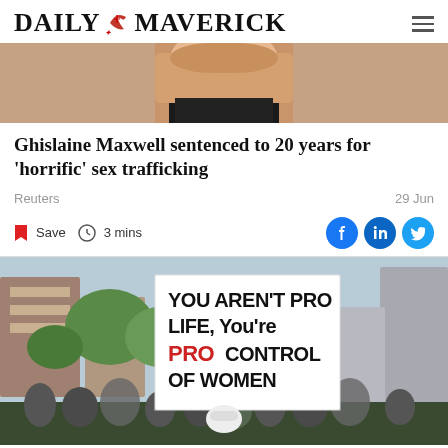DAILY MAVERICK
[Figure (photo): Close-up photo of Ghislaine Maxwell wearing a black top, cropped at the shoulders]
Ghislaine Maxwell sentenced to 20 years for 'horrific' sex trafficking
Reuters    29 Jun
Save   3 mins
[Figure (photo): Protest photo showing a crowd holding signs, prominently one reading: YOU AREN'T PRO LIFE, You're PRO CONTROL OF WOMEN, with city buildings and trees in the background]